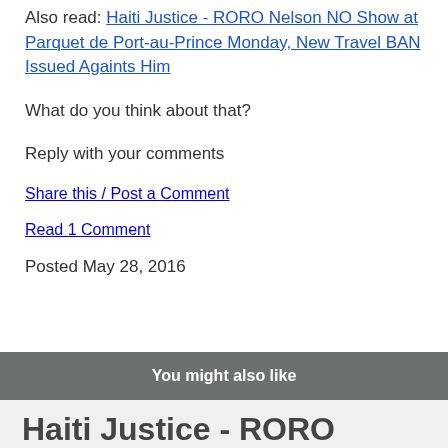Also read: Haiti Justice - RORO Nelson NO Show at Parquet de Port-au-Prince Monday, New Travel BAN Issued Againts Him
What do you think about that?
Reply with your comments
Share this / Post a Comment
Read 1 Comment
Posted May 28, 2016
You might also like
Haiti Justice - RORO Nelson NO Show at